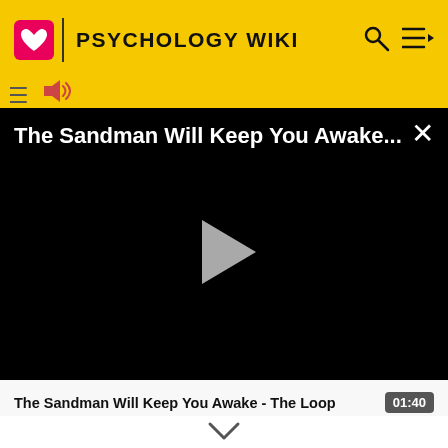PSYCHOLOGY WIKI
[Figure (screenshot): Video player overlay showing black background with title 'The Sandman Will Keep You Awake...' in white text at top, close X button top right, and a grey play button triangle in the center.]
The Sandman Will Keep You Awake - The Loop
01:40
| Label | Value |
| --- | --- |
| ICD-9 |  |
| OMIM | [1] |
▼